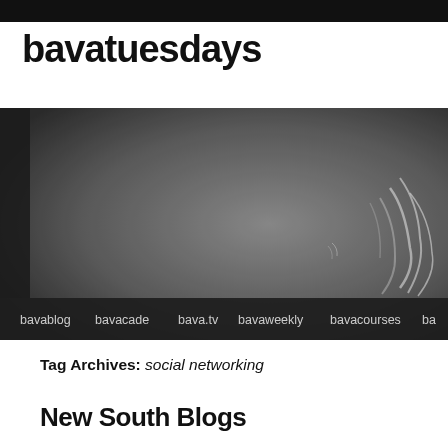bavatuesdays
[Figure (photo): Black and white header image showing a blurred figure or feathers on a dark background, with a navigation bar at the bottom listing: bavablog, bavacade, bava.tv, bavaweekly, bavacourses, ba...]
Tag Archives: social networking
New South Blogs